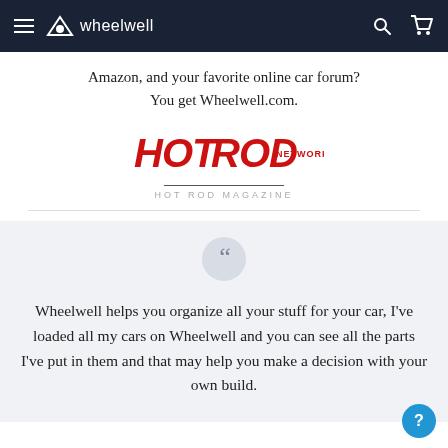wheelwell (navigation bar with hamburger menu, logo, search and cart icons)
Amazon, and your favorite online car forum? You get Wheelwell.com.
[Figure (logo): HOT ROD Network logo in red bold text with 'NETWORK' in smaller text]
HOT ROD MAGAZINE
Wheelwell helps you organize all your stuff for your car, I've loaded all my cars on Wheelwell and you can see all the parts I've put in them and that may help you make a decision with your own build.